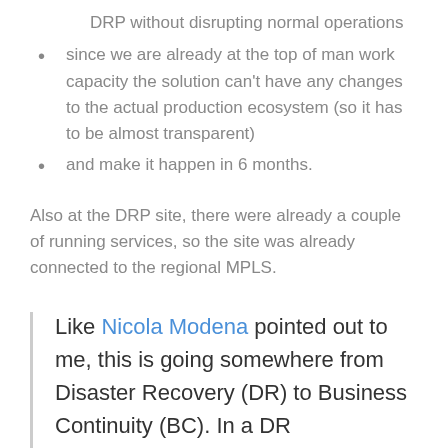DRP without disrupting normal operations
since we are already at the top of man work capacity the solution can't have any changes to the actual production ecosystem (so it has to be almost transparent)
and make it happen in 6 months.
Also at the DRP site, there were already a couple of running services, so the site was already connected to the regional MPLS.
Like Nicola Modena pointed out to me, this is going somewhere from Disaster Recovery (DR) to Business Continuity (BC). In a DR